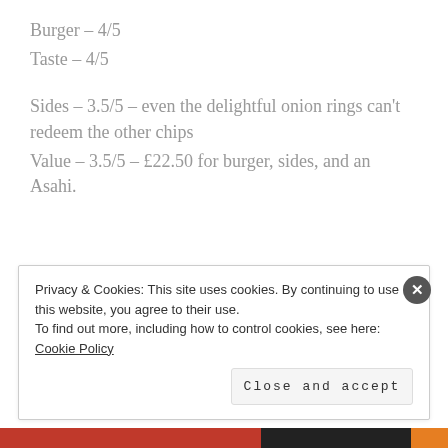Burger – 4/5
Taste – 4/5
Sides – 3.5/5 – even the delightful onion rings can't redeem the other chips
Value – 3.5/5 – £22.50 for burger, sides, and an Asahi.
Privacy & Cookies: This site uses cookies. By continuing to use this website, you agree to their use.
To find out more, including how to control cookies, see here: Cookie Policy
Close and accept